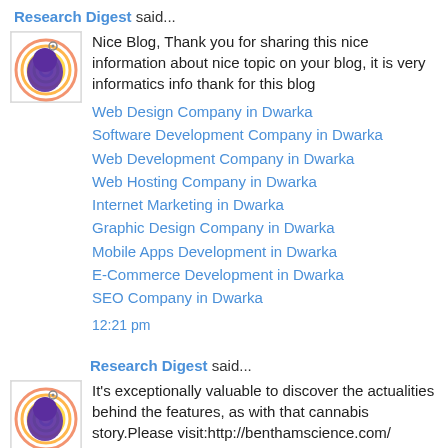Research Digest said...
[Figure (illustration): Avatar icon with purple brain/head and circular rainbow rings on white background]
Nice Blog, Thank you for sharing this nice information about nice topic on your blog, it is very informatics info thank for this blog
Web Design Company in Dwarka
Software Development Company in Dwarka
Web Development Company in Dwarka
Web Hosting Company in Dwarka
Internet Marketing in Dwarka
Graphic Design Company in Dwarka
Mobile Apps Development in Dwarka
E-Commerce Development in Dwarka
SEO Company in Dwarka
12:21 pm
Research Digest said...
[Figure (illustration): Avatar icon with purple brain/head and circular rainbow rings on white background]
It's exceptionally valuable to discover the actualities behind the features, as with that cannabis story.Please visit:http://benthamscience.com/
1:20 pm